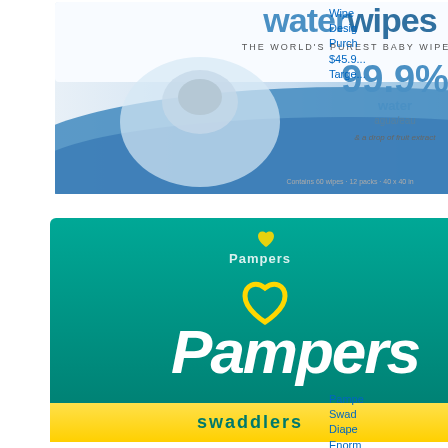[Figure (photo): WaterWipes baby wipes product packaging - 720 count 12 pack, featuring a newborn baby and '99.9% water' branding on blue and white box]
Wipes
Designated
Purchase
$45.9...
Target...
[Figure (photo): Pampers Swaddlers Diapers Enormous Pack 164ct box in teal/green color with yellow Pampers logo and #1 Pediatrician Recommended Brand badge]
Pampers Swaddlers Diapers Enormous Pack 164ct Desir...